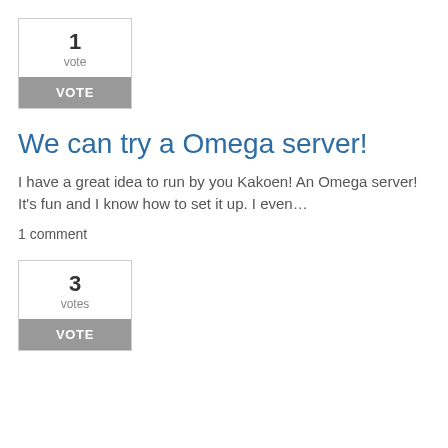[Figure (infographic): Vote widget showing 1 vote with a VOTE button]
We can try a Omega server!
I have a great idea to run by you Kakoen! An Omega server! It's fun and I know how to set it up. I even…
1 comment
[Figure (infographic): Vote widget showing 3 votes with a VOTE button]